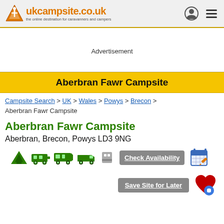ukcampsite.co.uk — the online destination for caravanners and campers
Advertisement
Aberbran Fawr Campsite
Campsite Search > UK > Wales > Powys > Brecon > Aberbran Fawr Campsite
Aberbran Fawr Campsite
Aberbran, Brecon, Powys LD3 9NG
[Figure (infographic): Row of camping facility icons: tent, caravan, motorhome, truck, and utility icons in green and grey. Followed by Check Availability button with calendar icon, and Save Site for Later button with heart icon.]